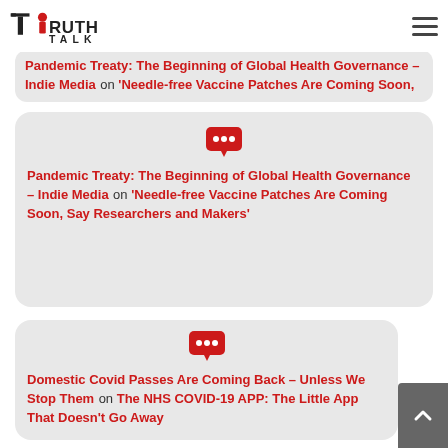TruthTalk logo and hamburger menu
Pandemic Treaty: The Beginning of Global Health Governance – Indie Media on 'Needle-free Vaccine Patches Are Coming Soon, Say Researchers and Makers'
Pandemic Treaty: The Beginning of Global Health Governance – Indie Media on 'Needle-free Vaccine Patches Are Coming Soon, Say Researchers and Makers'
Domestic Covid Passes Are Coming Back – Unless We Stop Them on The NHS COVID-19 APP: The Little App That Doesn't Go Away